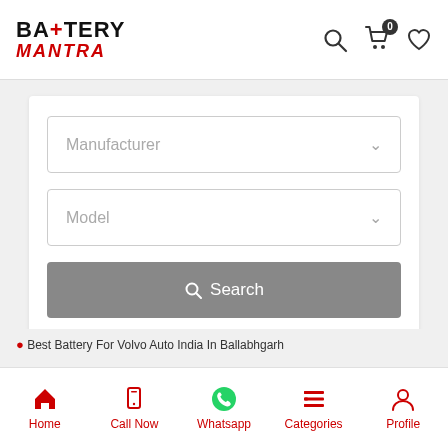[Figure (logo): Battery Mantra logo — BATTERY in bold black with red cross, MANTRA in red italic below]
[Figure (screenshot): Manufacturer dropdown selector with chevron]
[Figure (screenshot): Model dropdown selector with chevron]
[Figure (screenshot): Search button in grey]
Best Battery For Volvo Auto India In Ballabhgarh
[Figure (screenshot): Bottom navigation bar with Home, Call Now, Whatsapp, Categories, Profile icons]